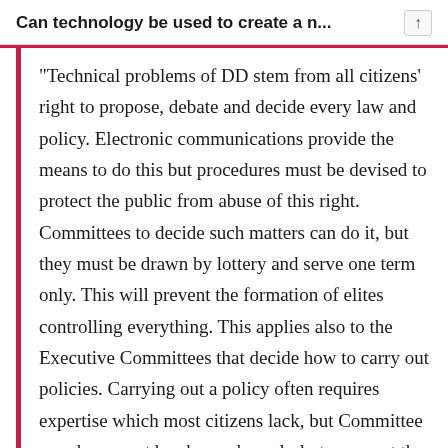Can technology be used to create a n...
“Technical problems of DD stem from all citizens’ right to propose, debate and decide every law and policy. Electronic communications provide the means to do this but procedures must be devised to protect the public from abuse of this right. Committees to decide such matters can do it, but they must be drawn by lottery and serve one term only. This will prevent the formation of elites controlling everything. This applies also to the Executive Committees that decide how to carry out policies. Carrying out a policy often requires expertise which most citizens lack, but Committee members must be changed regularly to prevent the formation of ‘expert elites’